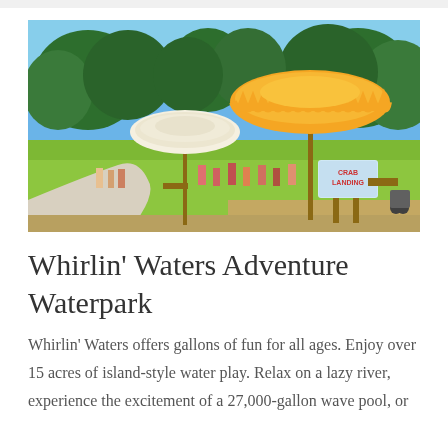[Figure (photo): Outdoor waterpark area showing two large beach umbrellas (one white, one orange/yellow), green grass, trees in background, visitors sitting and walking, and a wooden sign reading 'CRAB LANDING' on posts.]
Whirlin' Waters Adventure Waterpark
Whirlin' Waters offers gallons of fun for all ages. Enjoy over 15 acres of island-style water play. Relax on a lazy river, experience the excitement of a 27,000-gallon wave pool, or